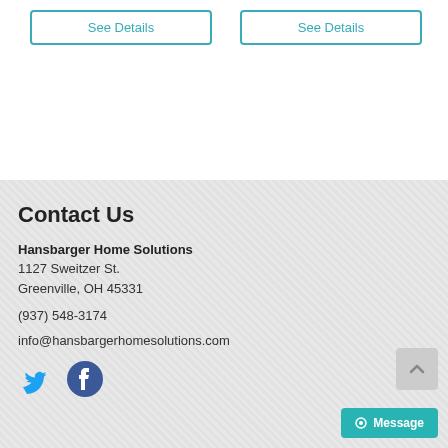See Details
See Details
Contact Us
Hansbarger Home Solutions
1127 Sweitzer St.
Greenville, OH 45331
(937) 548-3174
info@hansbargerhomesolutions.com
[Figure (illustration): Twitter and Facebook social media icons]
Message